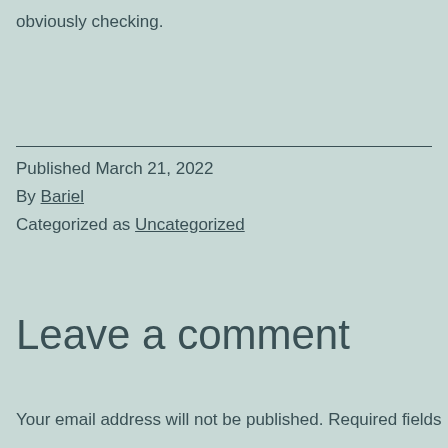obviously checking.
Published March 21, 2022
By Bariel
Categorized as Uncategorized
Leave a comment
Your email address will not be published. Required fields